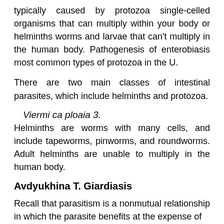typically caused by protozoa single-celled organisms that can multiply within your body or helminths worms and larvae that can't multiply in the human body. Pathogenesis of enterobiasis most common types of protozoa in the U.
There are two main classes of intestinal parasites, which include helminths and protozoa.
Viermi ca ploaia 3.
Helminths are worms with many cells, and include tapeworms, pinworms, and roundworms. Adult helminths are unable to multiply in the human body.
Avdyukhina T. Giardiasis
Recall that parasitism is a nonmutual relationship in which the parasite benefits at the expense of